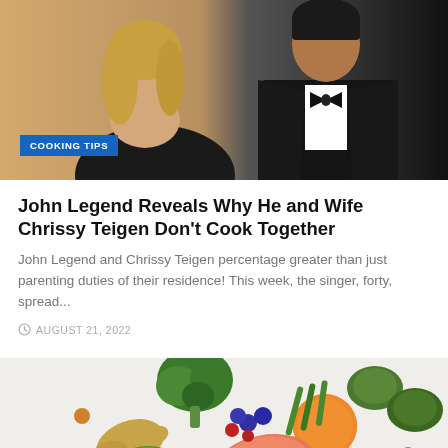[Figure (photo): Photo of a couple (woman in black strapless dress with blonde hair, man in black tuxedo) at a formal event, with a 'COOKING TIPS' badge overlay in blue]
John Legend Reveals Why He and Wife Chrissy Teigen Don't Cook Together
John Legend and Chrissy Teigen percentage greater than just parenting duties of their residence! This week, the singer, forty, spread...
AUGUST 21, 2022
[Figure (photo): Photo of various colorful vegetables and fruits scattered on a light gray background, including broccoli, orange, tomato, salmon, ginger, cabbage, berries, and other produce]